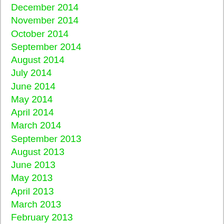December 2014
November 2014
October 2014
September 2014
August 2014
July 2014
June 2014
May 2014
April 2014
March 2014
September 2013
August 2013
June 2013
May 2013
April 2013
March 2013
February 2013
January 2013
December 2012
November 2012
October 2012